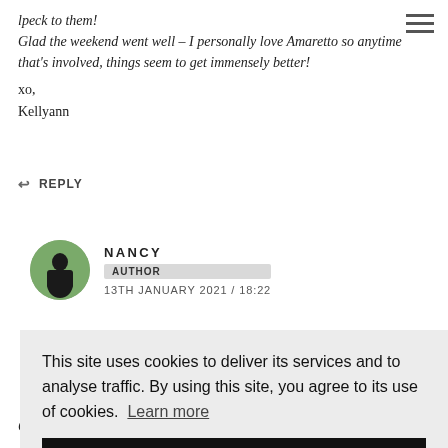lpeck to them!
Glad the weekend went well – I personally love Amaretto so anytime that's involved, things seem to get immensely better!
xo,
Kellyann
↩ REPLY
[Figure (photo): Circular avatar photo of Nancy, a woman standing on a path surrounded by greenery]
NANCY
AUTHOR
13TH JANUARY 2021 / 18:22
This site uses cookies to deliver its services and to analyse traffic. By using this site, you agree to its use of cookies. Learn more
OK
Glad the weekend will...